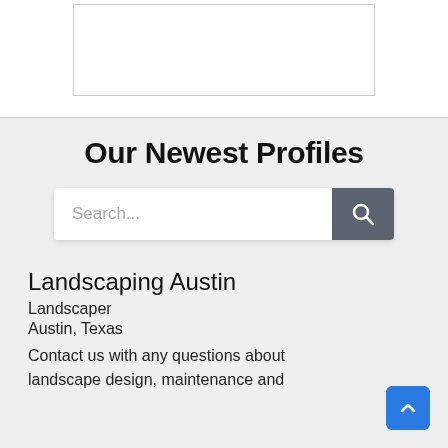[Figure (other): White rectangular ad placeholder box with border at top of page]
Our Newest Profiles
[Figure (other): Search bar with text input placeholder 'Search...' and a dark gray search button with magnifying glass icon]
Landscaping Austin
Landscaper
Austin, Texas
Contact us with any questions about landscape design, maintenance and